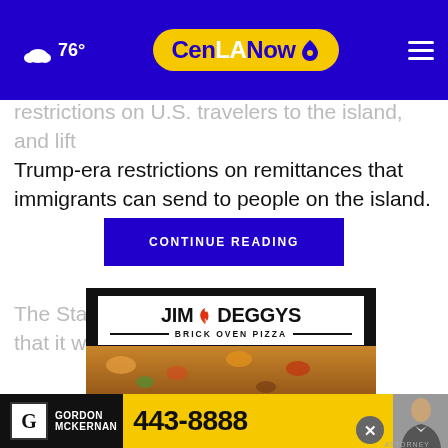76° CenLANow
restrictions on U.S. travelers to the island, and lift Trump-era restrictions on remittances that immigrants can send to people on the island.
The State Dep…nt Monday that it will co… or limit
CONTINUE READING
[Figure (advertisement): Jim Deggy's Brick Oven Pizza advertisement with pizza background image and logo box]
[Figure (advertisement): Gordon McKernan 443-8888 legal advertisement banner with photo of attorney]